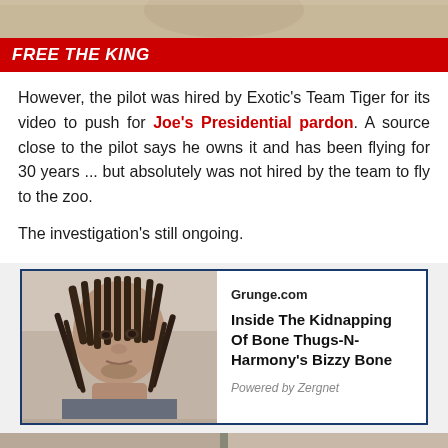[Figure (photo): Top image strip showing partial image at the top of the page]
FREE THE KING
However, the pilot was hired by Exotic's Team Tiger for its video to push for Joe's Presidential pardon. A source close to the pilot says he owns it and has been flying for 30 years ... but absolutely was not hired by the team to fly to the zoo.
The investigation's still ongoing.
[Figure (photo): Related content box with photo of a man with dreadlocks on the left and article info on the right. Source: Grunge.com. Title: Inside The Kidnapping Of Bone Thugs-N-Harmony's Bizzy Bone. Powered by Zergnet.]
[Figure (photo): Bottom strip showing partial images at the bottom of the page]